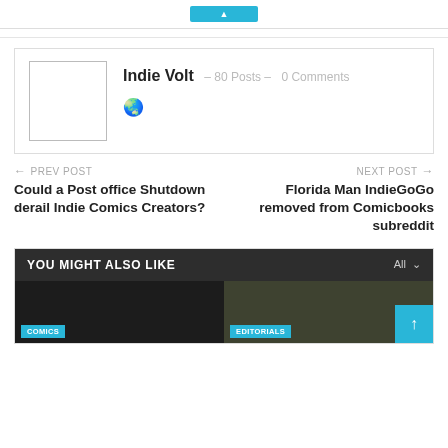[Figure (other): Top button bar with cyan/blue button partially visible]
Indie Volt - 80 Posts - 0 Comments
PREV POST - Could a Post office Shutdown derail Indie Comics Creators?
NEXT POST - Florida Man IndieGoGo removed from Comicbooks subreddit
YOU MIGHT ALSO LIKE
[Figure (photo): COMICS and EDITORIALS thumbnail cards at bottom]